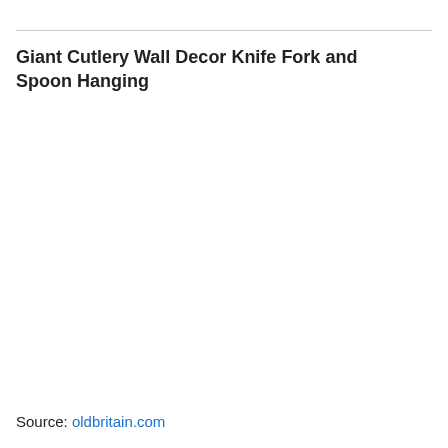Giant Cutlery Wall Decor Knife Fork and Spoon Hanging
Source: oldbritain.com